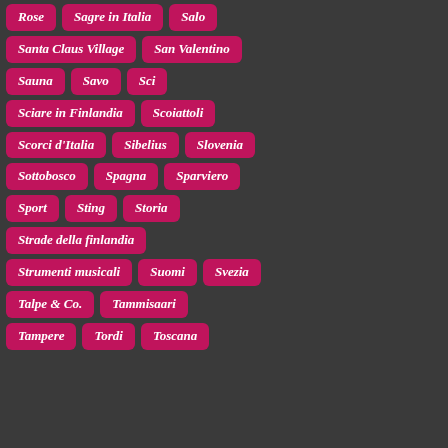Rose
Sagre in Italia
Salo
Santa Claus Village
San Valentino
Sauna
Savo
Sci
Sciare in Finlandia
Scoiattoli
Scorci d'Italia
Sibelius
Slovenia
Sottobosco
Spagna
Sparviero
Sport
Sting
Storia
Strade della finlandia
Strumenti musicali
Suomi
Svezia
Talpe & Co.
Tammisaari
Tampere
Tordi
Toscana